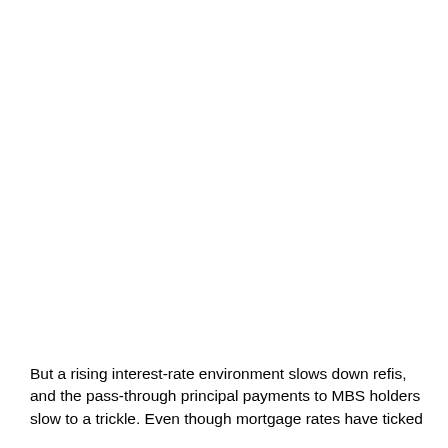But a rising interest-rate environment slows down refis, and the pass-through principal payments to MBS holders slow to a trickle. Even though mortgage rates have ticked